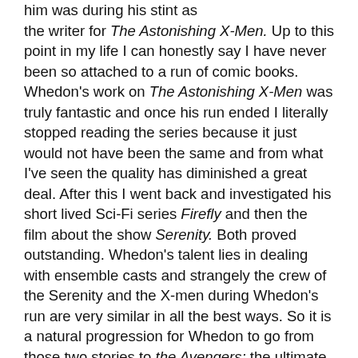him was during his stint as the writer for The Astonishing X-Men. Up to this point in my life I can honestly say I have never been so attached to a run of comic books. Whedon's work on The Astonishing X-Men was truly fantastic and once his run ended I literally stopped reading the series because it just would not have been the same and from what I've seen the quality has diminished a great deal. After this I went back and investigated his short lived Sci-Fi series Firefly and then the film about the show Serenity. Both proved outstanding. Whedon's talent lies in dealing with ensemble casts and strangely the crew of the Serenity and the X-men during Whedon's run are very similar in all the best ways. So it is a natural progression for Whedon to go from those two stories to the Avengers; the ultimate ensemble cast film.
Now the cast is excellent. I still feel a bit bummed that Norton didn't join the crew only because it would have totally uphold continuity in what fans call the Marvel